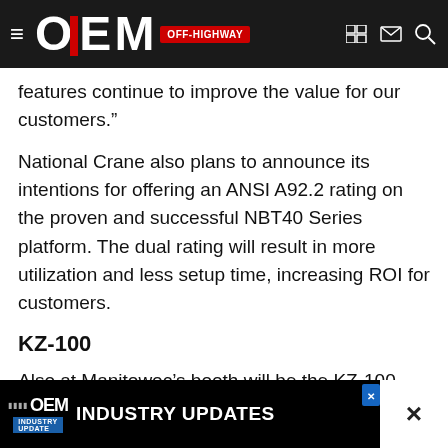OEM OFF-HIGHWAY
features continue to improve the value for our customers."
National Crane also plans to announce its intentions for offering an ANSI A92.2 rating on the proven and successful NBT40 Series platform. The dual rating will result in more utilization and less setup time, increasing ROI for customers.
KZ-100
Also at Manitowoc’s booth will be the KZ-100 synthetic rope. The KZ-100 offers many benefits over traditional hoist ropes. It’s 80% lighter, the construction is buoyancy neutral construction, and the new hoist rope handle for personnel lifting operations.
[Figure (other): OEM Industry Update / Industry Updates advertisement banner at bottom of page]